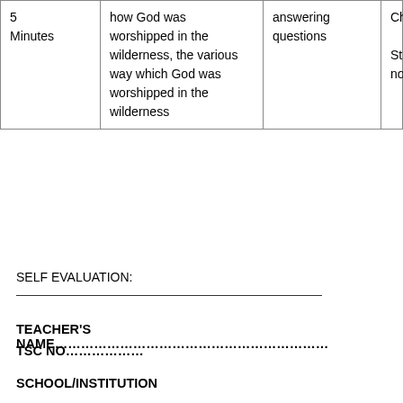| 5 Minutes | how God was worshipped in the wilderness, the various way which God was worshipped in the wilderness | answering questions | Chalkboard

Student notes |
SELF EVALUATION:
TEACHER'S NAME………………………………………………………
TSC NO………………
SCHOOL/INSTITUTION